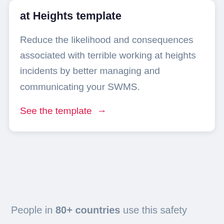at Heights template
Reduce the likelihood and consequences associated with terrible working at heights incidents by better managing and communicating your SWMS.
See the template →
People in 80+ countries use this safety